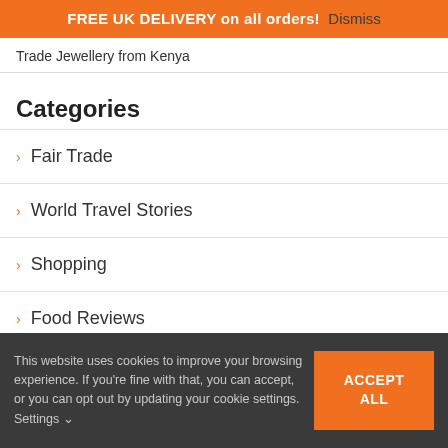FREE UK DELIVERY on all orders! Dismiss
Trade Jewellery from Kenya
Categories
Fair Trade
World Travel Stories
Shopping
Food Reviews
This website uses cookies to improve your browsing experience. If you're fine with that, you can accept, or you can opt out by updating your cookie settings. Settings
ACCEPT ALL